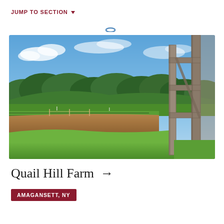JUMP TO SECTION ▼
[Figure (photo): Outdoor farm scene showing green fields, tilled soil rows, trees along the horizon under a blue sky with clouds, and a wooden gate/fence structure on the right side.]
Quail Hill Farm →
AMAGANSETT, NY